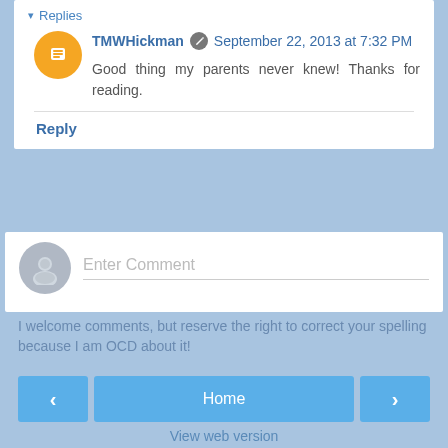▾ Replies
TMWHickman  September 22, 2013 at 7:32 PM
Good thing my parents never knew! Thanks for reading.
Reply
Enter Comment
I welcome comments, but reserve the right to correct your spelling because I am OCD about it!
Home
View web version